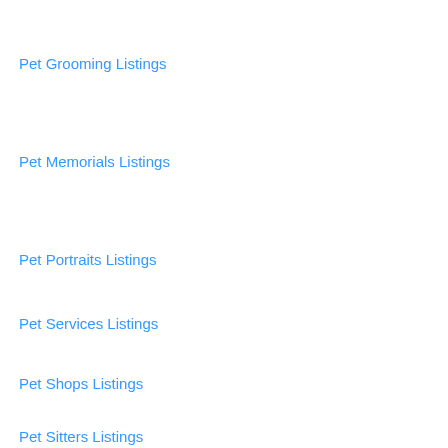Pet Grooming Listings
Pet Memorials Listings
Pet Portraits Listings
Pet Services Listings
Pet Shops Listings
Pet Sitters Listings
Pets Listings